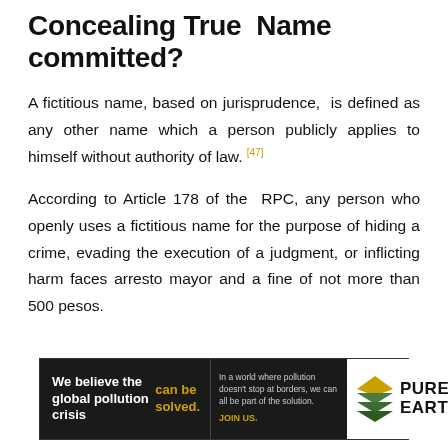Concealing True Name committed?
A fictitious name, based on jurisprudence, is defined as any other name which a person publicly applies to himself without authority of law. [47]
According to Article 178 of the RPC, any person who openly uses a fictitious name for the purpose of hiding a crime, evading the execution of a judgment, or inflicting harm faces arresto mayor and a fine of not more than 500 pesos.
[Figure (infographic): Pure Earth advertisement banner: black background left section reads 'We believe the global pollution crisis can be solved.' with 'can be solved.' in gold/yellow. Middle section in dark background: 'In a world where pollution doesn't stop at borders, we can all be part of the solution.' with 'JOIN US.' in gold. Right white section shows Pure Earth logo (diamond/chevron shapes in green and gold) and text 'PURE EARTH'.]